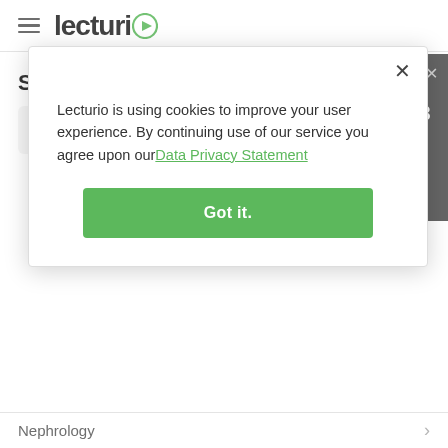[Figure (logo): Lecturio logo with hamburger menu icon]
Subjects/Topics covered on UKMPPD
[Figure (screenshot): Dark countdown timer popup showing 02 Days, 04 Hours, 07 Min, 03 Sec with EXTENDED! text]
Lecturio is using cookies to improve your user experience. By continuing use of our service you agree upon our Data Privacy Statement
[Figure (screenshot): Green Got it. button in cookie consent modal]
Nephrology